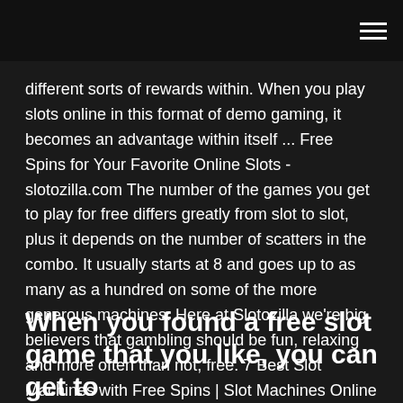different sorts of rewards within. When you play slots online in this format of demo gaming, it becomes an advantage within itself ... Free Spins for Your Favorite Online Slots - slotozilla.com The number of the games you get to play for free differs greatly from slot to slot, plus it depends on the number of scatters in the combo. It usually starts at 8 and goes up to as many as a hundred on some of the more generous machines. Here at Slotozilla we're big believers that gambling should be fun, relaxing and more often than not, free. 7 Best Slot Machines with Free Spins | Slot Machines Online
When you found a free slot game that you like, you can get to